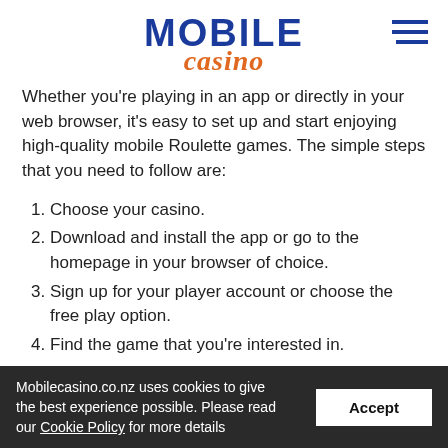MOBILE casino
Whether you're playing in an app or directly in your web browser, it's easy to set up and start enjoying high-quality mobile Roulette games. The simple steps that you need to follow are:
1. Choose your casino.
2. Download and install the app or go to the homepage in your browser of choice.
3. Sign up for your player account or choose the free play option.
4. Find the game that you're interested in.
Mobilecasino.co.nz uses cookies to give the best experience possible. Please read our Cookie Policy for more details